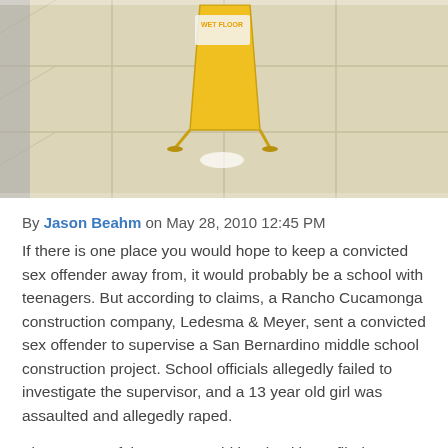[Figure (photo): Photo of a yellow wet floor warning sign on tiled floor]
By Jason Beahm on May 28, 2010 12:45 PM
If there is one place you would hope to keep a convicted sex offender away from, it would probably be a school with teenagers. But according to claims, a Rancho Cucamonga construction company, Ledesma & Meyer, sent a convicted sex offender to supervise a San Bernardino middle school construction project. School officials allegedly failed to investigate the supervisor, and a 13 year old girl was assaulted and allegedly raped.
The parents of the teenage girl involved have filed a lawsuit against school officials, school police and the construction company involved. The suit claims $5 million in damages for the teenage girl and $2 million in damages for the